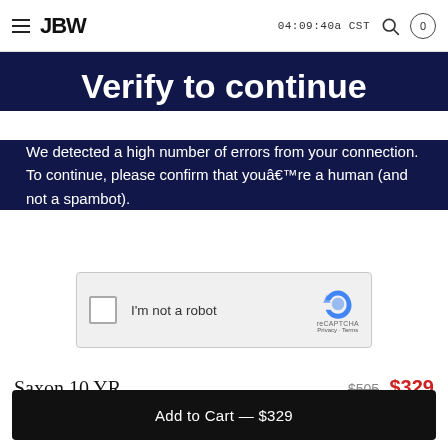JBW  04:09:40a CST  0
Verify to continue
We detected a high number of errors from your connection. To continue, please confirm that youâ€™re a human (and not a spambot).
[Figure (screenshot): reCAPTCHA widget with checkbox labeled 'I'm not a robot' and reCAPTCHA logo with Privacy and Terms links]
Saxon 10 YR
16 Diamonds
$505  $329
EXTRA 10% OFF
Add to Cart — $329